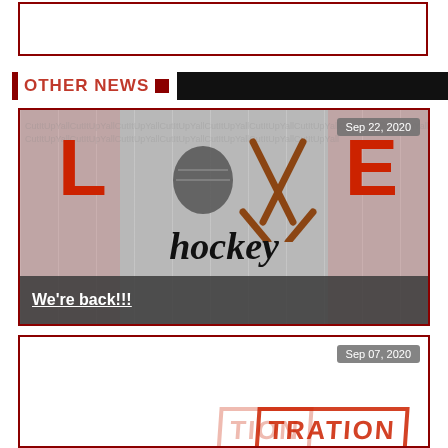[Figure (other): Empty white box with dark red border at top of page]
OTHER NEWS
[Figure (photo): Hockey 'LOVE hockey' graphic with red letters L and E, hockey puck as O, crossed sticks as V, script 'hockey' below, on gray wood-plank background. Date badge: Sep 22, 2020. Caption: We're back!!!]
We're back!!!
[Figure (photo): News card with date badge Sep 07, 2020, showing partial registration stamp graphic in red at bottom]